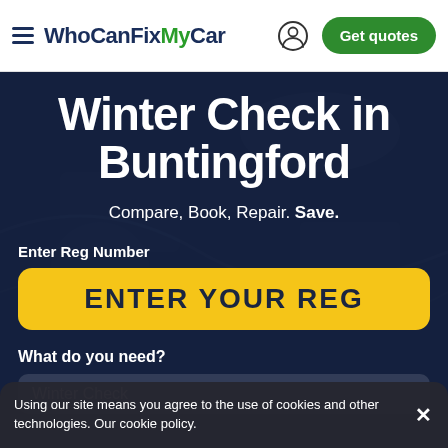WhoCanFixMyCar — Get quotes
Winter Check in Buntingford
Compare, Book, Repair. Save.
Enter Reg Number
ENTER YOUR REG
What do you need?
Winter Check
Using our site means you agree to the use of cookies and other technologies. Our cookie policy.